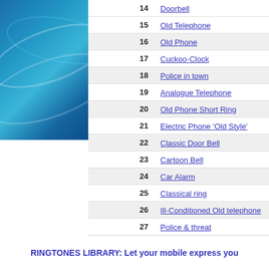[Figure (illustration): Blue gradient decorative image with wave/arc patterns in shades of blue]
| # | Name |
| --- | --- |
| 14 | Doorbell |
| 15 | Old Telephone |
| 16 | Old Phone |
| 17 | Cuckoo-Clock |
| 18 | Police in town |
| 19 | Analogue Telephone |
| 20 | Old Phone Short Ring |
| 21 | Electric Phone 'Old Style' |
| 22 | Classic Door Bell |
| 23 | Cartoon Bell |
| 24 | Car Alarm |
| 25 | Classical ring |
| 26 | Ill-Conditioned Old telephone |
| 27 | Police & threat |
| 28 | 911 Coming |
| 29 | Air Warning |
| 30 | Buzz Alarm |
RINGTONES LIBRARY: Let your mobile express you